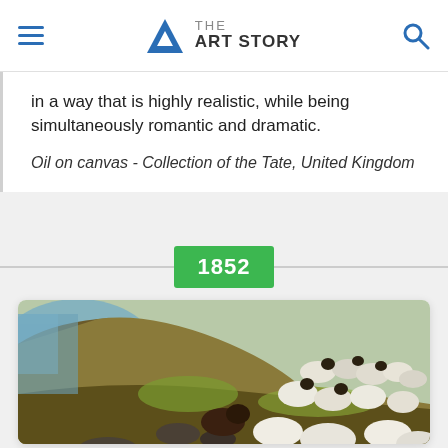THE ART STORY
in a way that is highly realistic, while being simultaneously romantic and dramatic.
Oil on canvas - Collection of the Tate, United Kingdom
1852
[Figure (photo): Painting of sheep and a dog resting on a coastal clifftop with sea visible in the background, rendered in a realistic Pre-Raphaelite style.]